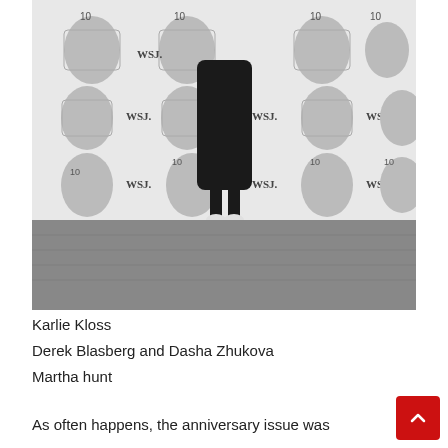[Figure (photo): A woman in a black midi dress and white strappy heels standing in front of a WSJ 10 Years anniversary backdrop featuring illustrated portraits of various people.]
Karlie Kloss
Derek Blasberg and Dasha Zhukova
Martha hunt
As often happens, the anniversary issue was